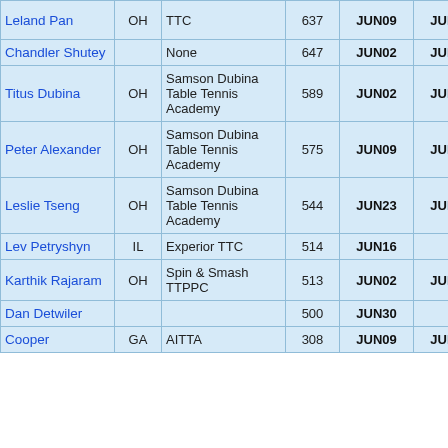| Name | State | Club | Rating | Date1 | Date2 | Date3 |
| --- | --- | --- | --- | --- | --- | --- |
| Leland Pan | OH | TTC | 637 | JUN09 | JUN16 | JUN23 |
| Chandler Shutey |  | None | 647 | JUN02 | JUN09 | JUN16 |
| Titus Dubina | OH | Samson Dubina Table Tennis Academy | 589 | JUN02 | JUN09 | JUN16 |
| Peter Alexander | OH | Samson Dubina Table Tennis Academy | 575 | JUN09 | JUN16 | JUL07 |
| Leslie Tseng | OH | Samson Dubina Table Tennis Academy | 544 | JUN23 | JUN30 | JUL07 |
| Lev Petryshyn | IL | Experior TTC | 514 | JUN16 |  |  |
| Karthik Rajaram | OH | Spin & Smash TTPPC | 513 | JUN02 | JUN09 | JUN16 |
| Dan Detwiler |  |  | 500 | JUN30 |  |  |
| Cooper | GA | AITTA | 308 | JUN09 | JUN16 |  |